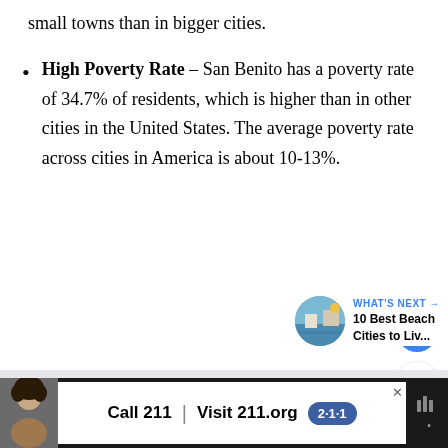small towns than in bigger cities.
High Poverty Rate – San Benito has a poverty rate of 34.7% of residents, which is higher than in other cities in the United States. The average poverty rate across cities in America is about 10-13%.
[Figure (other): Heart/like button (blue circle with white heart icon) and share button (white circle with share icon)]
[Figure (other): What's Next teaser: thumbnail image of beach city, label 'WHAT'S NEXT →', text '10 Best Beach Cities to Liv...']
[Figure (other): Advertisement bar at bottom: person photo, 'Call 211 | Visit 211.org' with 2-1-1 badge, close button, weather icon on right]